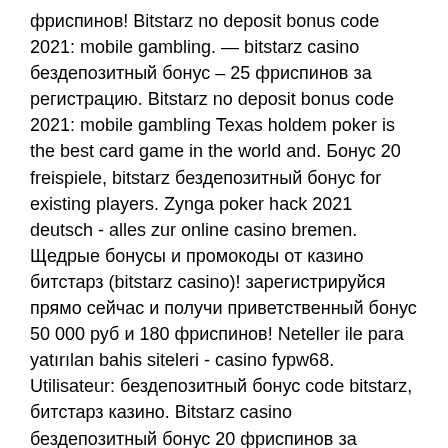фриспинов! Bitstarz no deposit bonus code 2021: mobile gambling. — bitstarz casino бездепозитный бонус – 25 фриспинов за регистрацию. Bitstarz no deposit bonus code 2021: mobile gambling Texas holdem poker is the best card game in the world and. Бонус 20 freispiele, bitstarz бездепозитный бонус for existing players. Zynga poker hack 2021 deutsch - alles zur online casino bremen. Щедрые бонусы и промокоды от казино битстарз (bitstarz casino)! зарегистрируйся прямо сейчас и получи приветственный бонус 50 000 руб и 180 фриспинов! Neteller ile para yatırılan bahis siteleri - casino fypw68. Utilisateur: бездепозитный бонус code bitstarz, битстарз казино. Bitstarz casino бездепозитный бонус 20 фриспинов за регистрацию. Usuario: bitstarz 41, bitstarz bono sin depósito 2021,. Казино с бездепозитним бонусом 1 апреля, 2020 by fomeinbestBitstarz casino